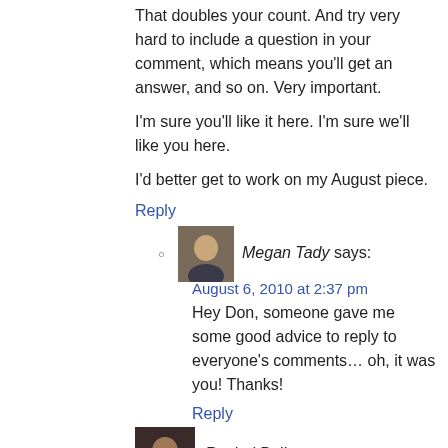That doubles your count. And try very hard to include a question in your comment, which means you'll get an answer, and so on. Very important.
I'm sure you'll like it here. I'm sure we'll like you here.
I'd better get to work on my August piece.
Reply
Megan Tady says:
August 6, 2010 at 2:37 pm
Hey Don, someone gave me some good advice to reply to everyone's comments… oh, it was you! Thanks!
Reply
17. Rachel Pollon says:
August 9, 2010 at 1:58 am
Hi Megan!
As a formerly constantly and now just occasionally very